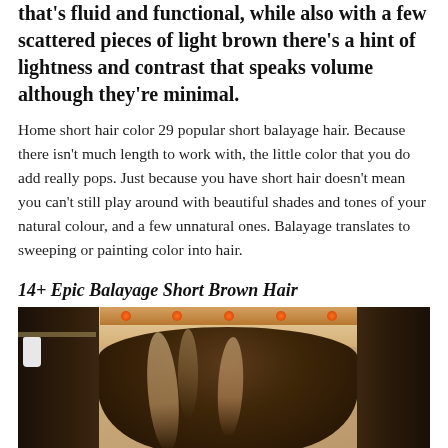that's fluid and functional, while also with a few scattered pieces of light brown there's a hint of lightness and contrast that speaks volume although they're minimal.
Home short hair color 29 popular short balayage hair. Because there isn't much length to work with, the little color that you do add really pops. Just because you have short hair doesn't mean you can't still play around with beautiful shades and tones of your natural colour, and a few unnatural ones. Balayage translates to sweeping or painting color into hair.
14+ Epic Balayage Short Brown Hair
[Figure (photo): Back view of a woman with short brown balayage hair sitting in a salon chair, visible in a mirror, with salon furniture and decor in the background.]